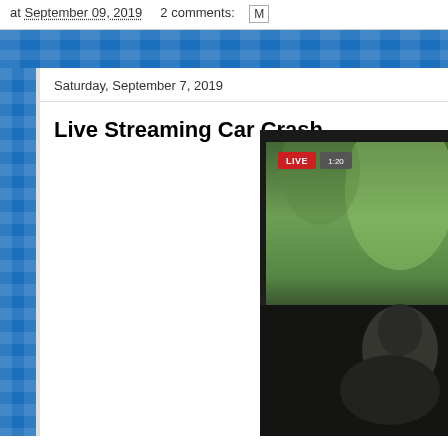at September 09, 2019    2 comments:
Saturday, September 7, 2019
Live Streaming Car Crash.....
[Figure (photo): Screenshot of a live stream video showing a person inside a car, with trees visible through the window. A red LIVE badge and a timer overlay are visible in the upper left corner of the video frame.]